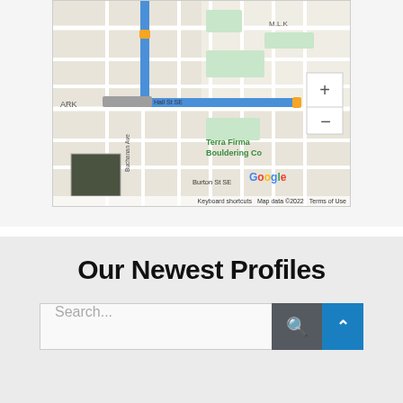[Figure (map): Google Maps screenshot showing street map with Hall St SE, Buchanan Ave, Burton St SE, Terra Firma Bouldering Co label, blue route highlight, zoom controls (+/-), and Google branding. Map data ©2022. Keyboard shortcuts and Terms of Use links visible.]
Our Newest Profiles
Search...